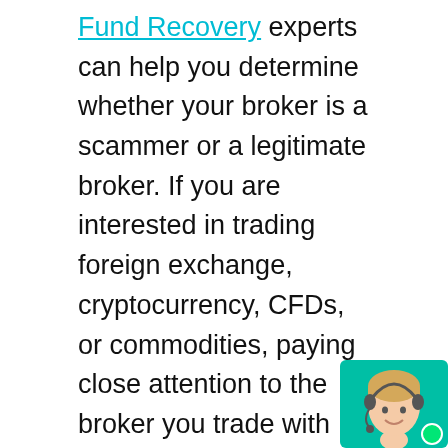Fund Recovery experts can help you determine whether your broker is a scammer or a legitimate broker. If you are interested in trading foreign exchange, cryptocurrency, CFDs, or commodities, paying close attention to the broker you trade with can prevent broker withdrawal problems and help you avoid broker fraud. This does not mean you are discouraged-in many cases, trading is safe and reliable, but only if you choose the right broker. However, if you want to avoid potential problems, the broker must be honest with the trader.
You are told that the trader will trade for you, regulated brokers are not allowed to trade for you. When a broker has your money, he can do whatever he wants, as long as it is not regulated. Working with
[Figure (photo): Chat support widget in bottom-right corner showing a woman with a headset, teal/green background]